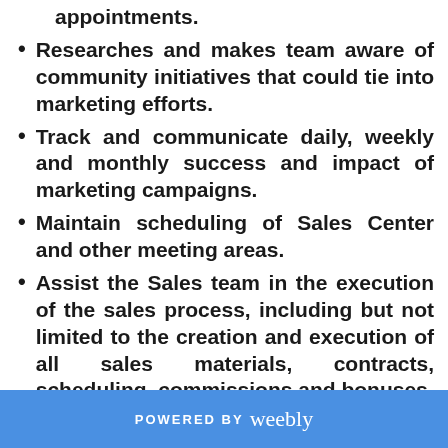appointments.
Researches and makes team aware of community initiatives that could tie into marketing efforts.
Track and communicate daily, weekly and monthly success and impact of marketing campaigns.
Maintain scheduling of Sales Center and other meeting areas.
Assist the Sales team in the execution of the sales process, including but not limited to the creation and execution of all sales materials, contracts, scheduling, commissions and bonuses.
Perform additional office
POWERED BY weebly